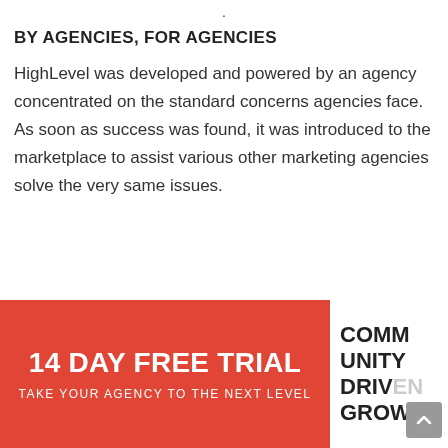.
BY AGENCIES, FOR AGENCIES
HighLevel was developed and powered by an agency concentrated on the standard concerns agencies face. As soon as success was found, it was introduced to the marketplace to assist various other marketing agencies solve the very same issues.
14 DAY FREE TRIAL
TAKE YOUR AGENCY TO THE NEXT LEVEL
COMM UNITY DRIVEN GROWT